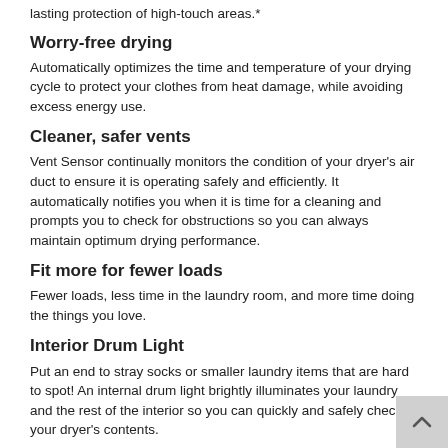lasting protection of high-touch areas.*
Worry-free drying
Automatically optimizes the time and temperature of your drying cycle to protect your clothes from heat damage, while avoiding excess energy use.
Cleaner, safer vents
Vent Sensor continually monitors the condition of your dryer's air duct to ensure it is operating safely and efficiently. It automatically notifies you when it is time for a cleaning and prompts you to check for obstructions so you can always maintain optimum drying performance.
Fit more for fewer loads
Fewer loads, less time in the laundry room, and more time doing the things you love.
Interior Drum Light
Put an end to stray socks or smaller laundry items that are hard to spot! An internal drum light brightly illuminates your laundry and the rest of the interior so you can quickly and safely check your dryer's contents.
Flexible opening